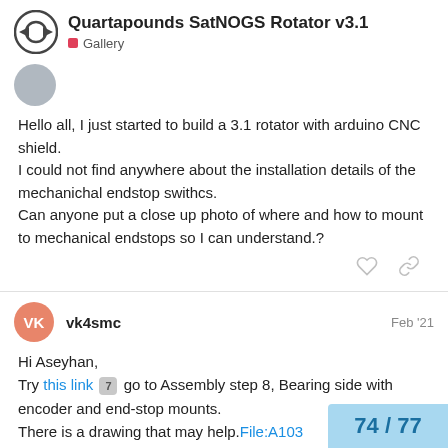Quartapounds SatNOGS Rotator v3.1 — Gallery
Hello all, I just started to build a 3.1 rotator with arduino CNC shield.
I could not find anywhere about the installation details of the mechanichal endstop swithcs.
Can anyone put a close up photo of where and how to mount to mechanical endstops so I can understand.?
vk4smc  Feb '21
Hi Aseyhan,
Try this link 7 go to Assembly step 8, Bearing side with encoder and end-stop mounts.
There is a drawing that may help. File:A103...
Also this, Rotator 3.1 End stop switch mou...
74 / 77